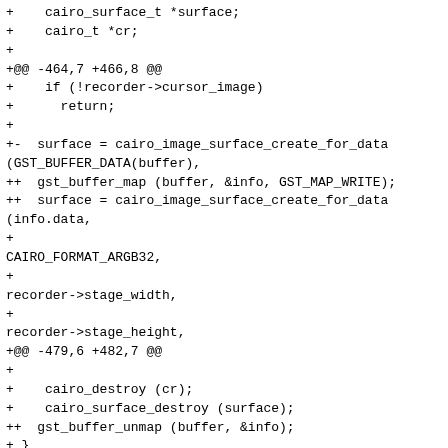+    cairo_surface_t *surface;
+    cairo_t *cr;
+
+@@ -464,7 +466,8 @@
+    if (!recorder->cursor_image)
+      return;
+
+-  surface = cairo_image_surface_create_for_data(GST_BUFFER_DATA(buffer),
++  gst_buffer_map (buffer, &info, GST_MAP_WRITE);
++  surface = cairo_image_surface_create_for_data(info.data,
+
CAIRO_FORMAT_ARGB32,
+
recorder->stage_width,
+
recorder->stage_height,
+@@ -479,6 +482,7 @@
+
+    cairo_destroy (cr);
+    cairo_surface_destroy (surface);
++  gst_buffer_unmap (buffer, &info);
+ }
+
+ /* Draw an overlay indicating how much of the target memory is used
+@@ -541,10 +545,11 @@
+    data = g_malloc (size);
+